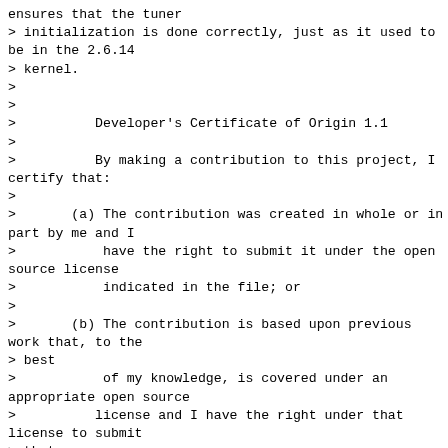ensures that the tuner
> initialization is done correctly, just as it used to be in the 2.6.14
> kernel.
>
>
>          Developer's Certificate of Origin 1.1
>
>          By making a contribution to this project, I certify that:
>
>       (a) The contribution was created in whole or in part by me and I
>           have the right to submit it under the open source license
>           indicated in the file; or
>
>       (b) The contribution is based upon previous work that, to the
> best
>           of my knowledge, is covered under an appropriate open source
>          license and I have the right under that license to submit
> that
>           work with modifications, whether created in whole or in part
>          by me, under the same open source license (unless I am
>          permitted to submit under a different